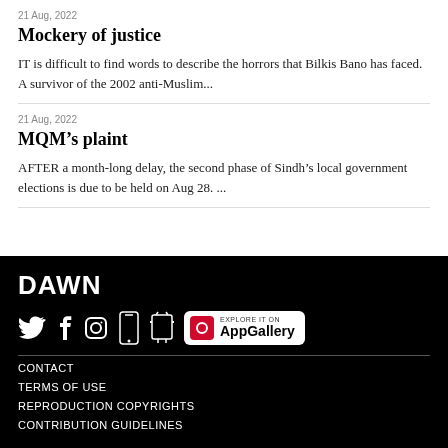21 Aug, 2022
Mockery of justice
IT is difficult to find words to describe the horrors that Bilkis Bano has faced. A survivor of the 2002 anti-Muslim...
21 Aug, 2022
MQM’s plaint
AFTER a month-long delay, the second phase of Sindh’s local government elections is due to be held on Aug 28. ...
DAWN
CONTACT
TERMS OF USE
REPRODUCTION COPYRIGHTS
CONTRIBUTION GUIDELINES